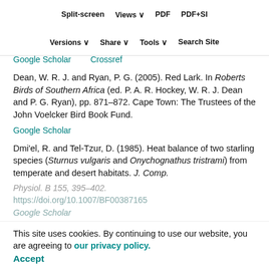Split-screen  Views  PDF  PDF+SI
Versions  Share  Tools  Search Site
Dawson, W. R. and Fisher, C. D. (1969). Responses to temperature by the spotted nightjar (Eurostopodus guttatus). Condor 71, 49–53. https://doi.org/10.2307/1366047
Google Scholar   Crossref
Dean, W. R. J. and Ryan, P. G. (2005). Red Lark. In Roberts Birds of Southern Africa (ed. P. A. R. Hockey, W. R. J. Dean and P. G. Ryan), pp. 871–872. Cape Town: The Trustees of the John Voelcker Bird Book Fund.
Google Scholar
Dmi'el, R. and Tel-Tzur, D. (1985). Heat balance of two starling species (Sturnus vulgaris and Onychognathus tristrami) from temperate and desert habitats. J. Comp. Physiol. B 155, 395–402. https://doi.org/10.1007/BF00387165
Google Scholar
This site uses cookies. By continuing to use our website, you are agreeing to our privacy policy. Accept
du Plessis, K. L., Martin, R. O., Hockey, P. A. R.,